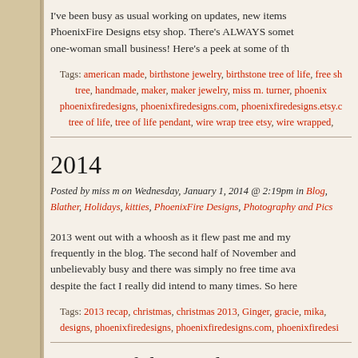I've been busy as usual working on updates, new items PhoenixFire Designs etsy shop. There's ALWAYS somet one-woman small business! Here's a peek at some of th
Tags: american made, birthstone jewelry, birthstone tree of life, free sh tree, handmade, maker, maker jewelry, miss m. turner, phoenix phoenixfiredesigns, phoenixfiredesigns.com, phoenixfiredesigns.etsy.c tree of life, tree of life pendant, wire wrap tree etsy, wire wrapped,
2014
Posted by miss m on Wednesday, January 1, 2014 @ 2:19pm in Blog, Blather, Holidays, kitties, PhoenixFire Designs, Photography and Pics
2013 went out with a whoosh as it flew past me and my frequently in the blog. The second half of November and unbelievably busy and there was simply no free time ava despite the fact I really did intend to many times. So here
Tags: 2013 recap, christmas, christmas 2013, Ginger, gracie, mika, designs, phoenixfiredesigns, phoenixfiredesigns.com, phoenixfiredesi
Design of the Week